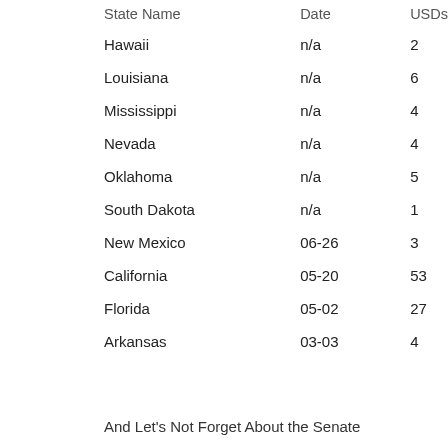| State Name | Date | USDs |
| --- | --- | --- |
| Hawaii | n/a | 2 |
| Louisiana | n/a | 6 |
| Mississippi | n/a | 4 |
| Nevada | n/a | 4 |
| Oklahoma | n/a | 5 |
| South Dakota | n/a | 1 |
| New Mexico | 06-26 | 3 |
| California | 05-20 | 53 |
| Florida | 05-02 | 27 |
| Arkansas | 03-03 | 4 |
And Let's Not Forget About the Senate